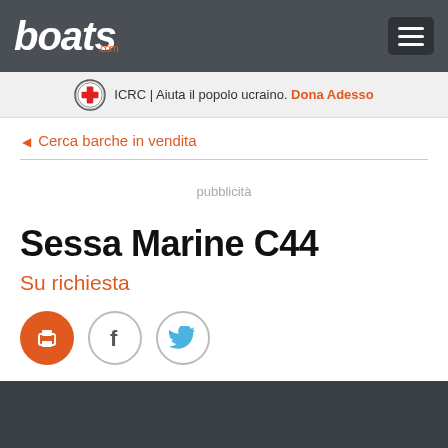boats.com
ICRC | Aiuta il popolo ucraino. Dona Adesso
◄ Cerca barche in vendita
pubblicità
Sessa Marine C44
Su richiesta
[Figure (other): Social sharing icons: print (orange circle), Facebook (circle with F), Twitter (circle with bird)]